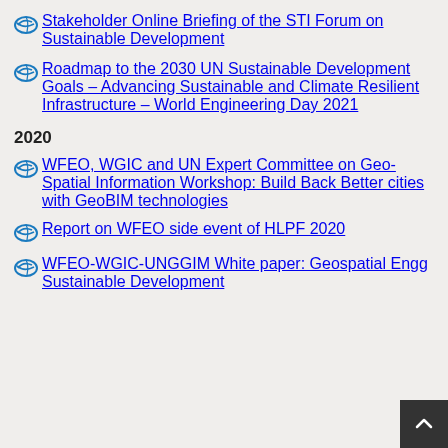Stakeholder Online Briefing of the STI Forum on Sustainable Development
Roadmap to the 2030 UN Sustainable Development Goals – Advancing Sustainable and Climate Resilient Infrastructure – World Engineering Day 2021
2020
WFEO, WGIC and UN Expert Committee on Geo-Spatial Information Workshop: Build Back Better cities with GeoBIM technologies
Report on WFEO side event of HLPF 2020
WFEO-WGIC-UNGGIM White paper: Geospatial Engg Sustainable Development